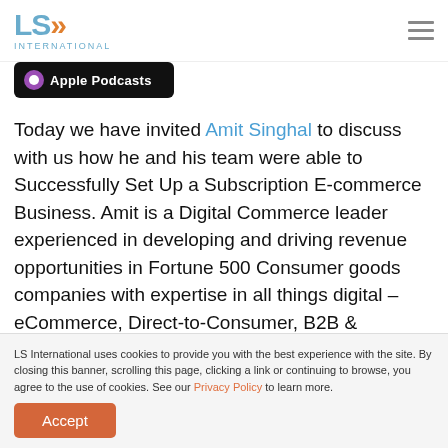[Figure (logo): LS International logo with orange arrows and blue text, with INTERNATIONAL subtitle]
[Figure (logo): Apple Podcasts badge - dark background with white text]
Today we have invited Amit Singhal to discuss with us how he and his team were able to Successfully Set Up a Subscription E-commerce Business. Amit is a Digital Commerce leader experienced in developing and driving revenue opportunities in Fortune 500 Consumer goods companies with expertise in all things digital – eCommerce, Direct-to-Consumer, B2B & Commercial Analytics. He led the creation of the highly successful Subscription
LS International uses cookies to provide you with the best experience with the site. By closing this banner, scrolling this page, clicking a link or continuing to browse, you agree to the use of cookies. See our Privacy Policy to learn more.
Accept